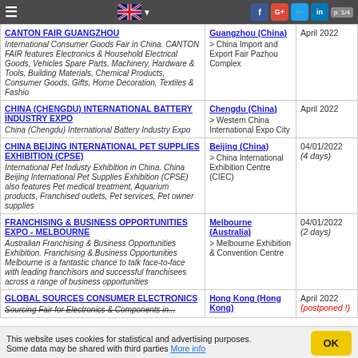p. 1/4
CANTON FAIR GUANGZHOU — International Consumer Goods Fair in China. CANTON FAIR features Electronics & Household Electrical Goods, Vehicles Spare Parts, Machinery, Hardware & Tools, Building Materials, Chemical Products, Consumer Goods, Gifts, Home Decoration, Textiles & Fashio — Guangzhou (China) > China Import and Export Fair Pazhou Complex — April 2022
CHINA (CHENGDU) INTERNATIONAL BATTERY INDUSTRY EXPO — China (Chengdu) International Battery Industry Expo — Chengdu (China) > Western China International Expo City — April 2022
CHINA BEIJING INTERNATIONAL PET SUPPLIES EXHIBITION (CPSE) — International Pet Industy Exhibition in China. China Beijing International Pet Supplies Exhibition (CPSE) also features Pet medical treatment, Aquarium products, Franchised outlets, Pet services, Pet owner supplies — Beijing (China) > China International Exhibition Centre (CIEC) — 04/01/2022 (4 days)
FRANCHISING & BUSINESS OPPORTUNITIES EXPO - MELBOURNE — Australian Franchising & Business Opportunities Exhibition. Franchising & Business Opportunities Melbourne is a fantastic chance to talk face-to-face with leading franchisors and successful franchisees across a range of business opportunities — Melbourne (Australia) > Melbourne Exhibition & Convention Centre — 04/01/2022 (2 days)
GLOBAL SOURCES CONSUMER ELECTRONICS — Sourcing Fair for Electronics & Components in... — Hong Kong (Hong Kong) — April 2022 (postponed !)
This website uses cookies for statistical and advertising purposes. Some data may be shared with third parties More info